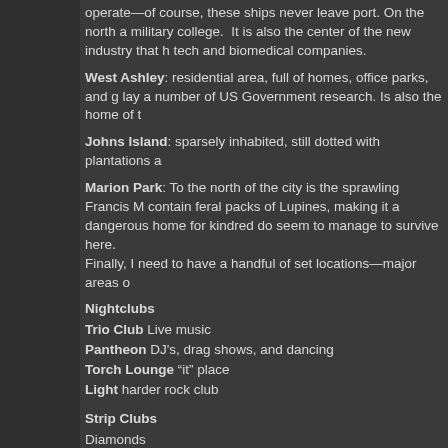operate—of course, these ships never leave port. On the north a military college.  It is also the center of the new industry that h tech and biomedical companies.
West Ashley: residential area, full of homes, office parks, and g lay a number of US Government research. Is also the home of t
Johns Island: sparsely inhabited, still dotted with plantations a
Marion Park: To the north of the city is the sprawling Francis M contain feral packs of Lupines, making it a dangerous home for kindred do seem to manage to survive here. Finally, I need to have a handful of set locations—major areas o
Nightclubs
Trio Club Live music
Pantheon DJ's, drag shows, and dancing
Torch Lounge "it" place
Light harder rock club
Strip Clubs
Diamonds
Southern Belle